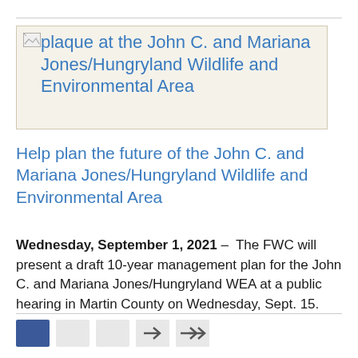[Figure (photo): Broken image placeholder with alt text for plaque at the John C. and Mariana Jones/Hungryland Wildlife and Environmental Area]
Help plan the future of the John C. and Mariana Jones/Hungryland Wildlife and Environmental Area
Wednesday, September 1, 2021 - The FWC will present a draft 10-year management plan for the John C. and Mariana Jones/Hungryland WEA at a public hearing in Martin County on Wednesday, Sept. 15.